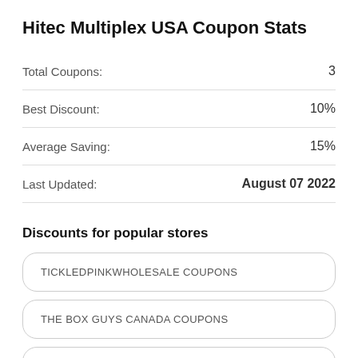Hitec Multiplex USA Coupon Stats
|  |  |
| --- | --- |
| Total Coupons: | 3 |
| Best Discount: | 10% |
| Average Saving: | 15% |
| Last Updated: | August 07 2022 |
Discounts for popular stores
TICKLEDPINKWHOLESALE COUPONS
THE BOX GUYS CANADA COUPONS
SWEET SIMPLICITY BOUTIQUE COUPONS